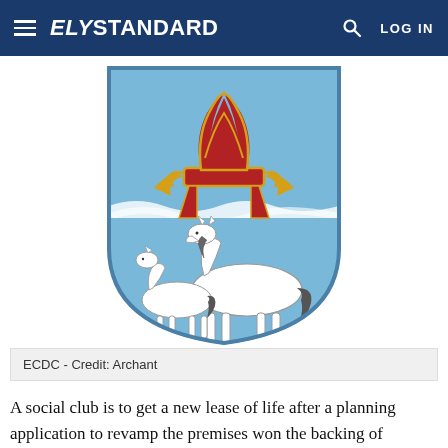ELY STANDARD   LOG IN
[Figure (illustration): East Cambridgeshire District Council coat of arms / shield: a light blue shield with a bishop's mitre in red and gold at the top, wavy lines across the middle, and a mare with a foal below on a light blue background.]
ECDC - Credit: Archant
A social club is to get a new lease of life after a planning application to revamp the premises won the backing of councillors.
Craig Stretton applied to East Cambridgeshire District